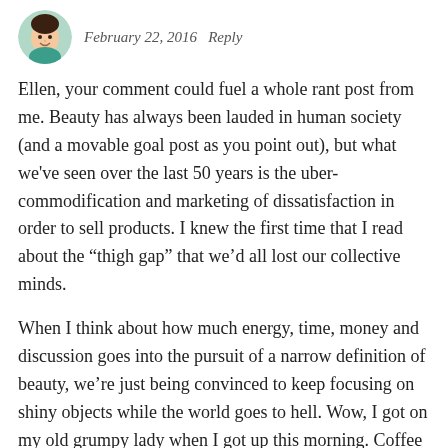[Figure (photo): Small circular avatar photo of a person with dark hair wearing a teal/green top]
February 22, 2016   Reply
Ellen, your comment could fuel a whole rant post from me. Beauty has always been lauded in human society (and a movable goal post as you point out), but what we've seen over the last 50 years is the uber-commodification and marketing of dissatisfaction in order to sell products. I knew the first time that I read about the “thigh gap” that we’d all lost our collective minds.
When I think about how much energy, time, money and discussion goes into the pursuit of a narrow definition of beauty, we’re just being convinced to keep focusing on shiny objects while the world goes to hell. Wow, I got on my old grumpy lady when I got up this morning. Coffee